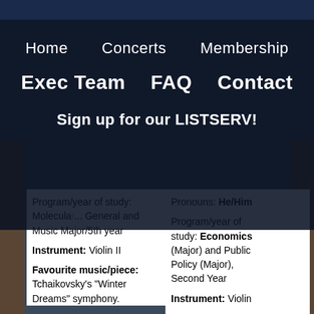Home   Concerts   Membership
Exec Team   FAQ   Contact
Sign up for our LISTSERV!
Program/year of study: Molecular... General and Music Major/5th year
Instrument: Violin II
Favourite music/piece: Tchaikovsky's "Winter Dreams" symphony.
Pronouns: He/Him
Program/year of study: Economics (Major) and Public Policy (Major), Second Year
Instrument: Violin
Favourite music/piece: The Moldau by Bedřich Smetana – it's very